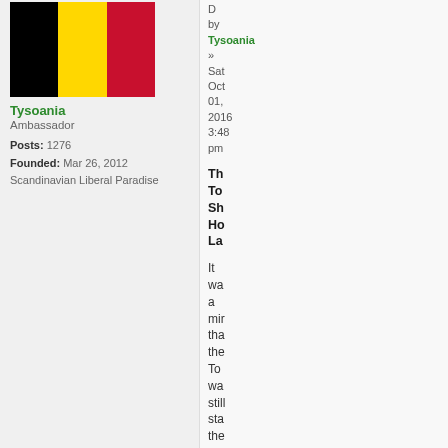[Figure (illustration): Belgian flag with black, yellow, and red vertical stripes]
Tysoania
Ambassador
Posts: 1276
Founded: Mar 26, 2012
Scandinavian Liberal Paradise
by Tysoania
»
Sat Oct 01, 2016 3:48 pm
Th
To
Sh
Ho
La
It wa a mir tha the To wa still sta the hi